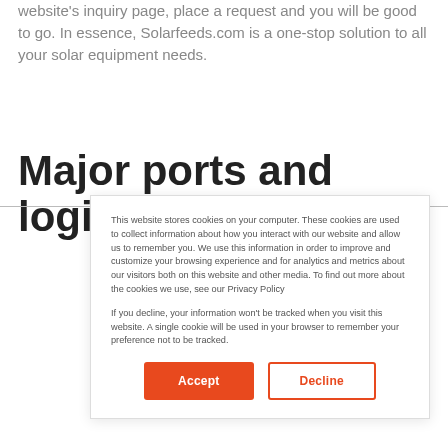website's inquiry page, place a request and you will be good to go. In essence, Solarfeeds.com is a one-stop solution to all your solar equipment needs.
Major ports and logistical
This website stores cookies on your computer. These cookies are used to collect information about how you interact with our website and allow us to remember you. We use this information in order to improve and customize your browsing experience and for analytics and metrics about our visitors both on this website and other media. To find out more about the cookies we use, see our Privacy Policy

If you decline, your information won't be tracked when you visit this website. A single cookie will be used in your browser to remember your preference not to be tracked.